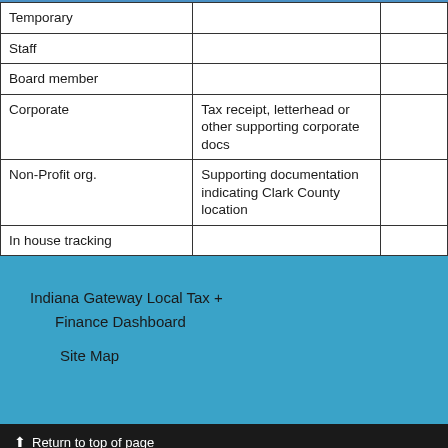|  |  |  |
| --- | --- | --- |
| Temporary |  |  |
| Staff |  |  |
| Board member |  |  |
| Corporate | Tax receipt, letterhead or other supporting corporate docs |  |
| Non-Profit org. | Supporting documentation indicating Clark County location |  |
| In house tracking |  |  |
Indiana Gateway Local Tax + Finance Dashboard

Site Map
Return to top of page